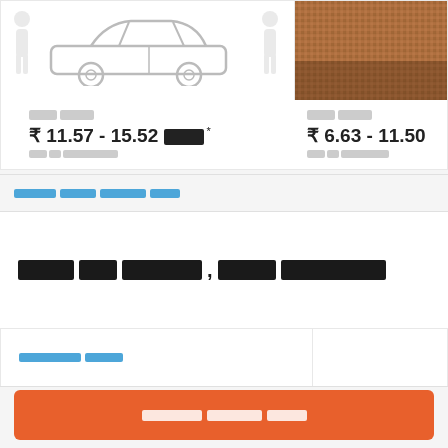[Figure (illustration): Car icon illustration with person silhouettes on left card, and a photo of textured surface on right card]
█████ █████
₹ 11.57 - 15.52 █████ *
███ ██ ████████████
█████ ██████
₹ 6.63 - 11.50
███ ██ ████████████
███████ ██████ ██████ █████
█████ ███ ██████████, ██████ ██████████████
████████████ █████
███████ ███████ █████